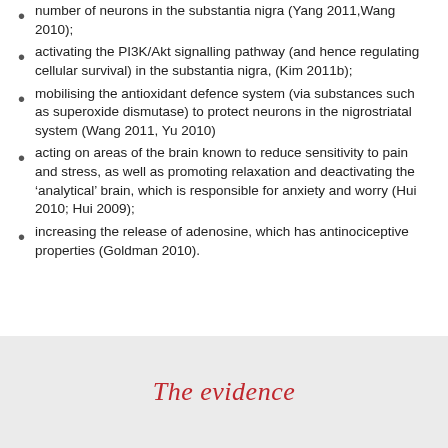number of neurons in the substantia nigra (Yang 2011,Wang 2010);
activating the PI3K/Akt signalling pathway (and hence regulating cellular survival) in the substantia nigra, (Kim 2011b);
mobilising the antioxidant defence system (via substances such as superoxide dismutase) to protect neurons in the nigrostriatal system (Wang 2011, Yu 2010)
acting on areas of the brain known to reduce sensitivity to pain and stress, as well as promoting relaxation and deactivating the ‘analytical’ brain, which is responsible for anxiety and worry (Hui 2010; Hui 2009);
increasing the release of adenosine, which has antinociceptive properties (Goldman 2010).
The evidence